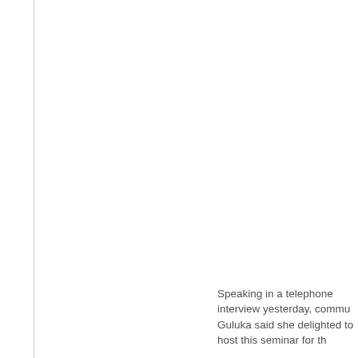Speaking in a telephone interview yesterday, commu Guluka said she delighted to host this seminar for th